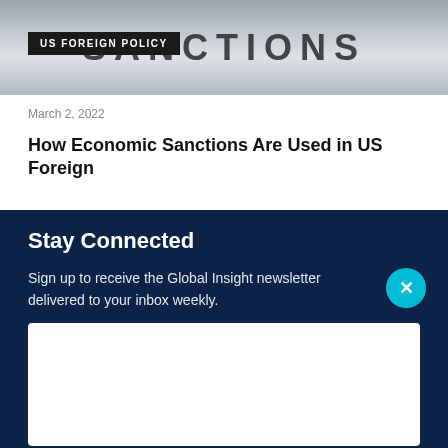[Figure (photo): Photo showing letter tiles spelling SANCTIONS with dark overlay label badge reading US FOREIGN POLICY]
March 2, 2022
How Economic Sanctions Are Used in US Foreign
Stay Connected
Sign up to receive the Global Insight newsletter delivered to your inbox weekly.